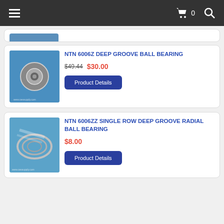Navigation bar with hamburger menu, cart (0), and search icon
[Figure (photo): Partially visible product card with a bearing photo at the top of the page]
NTN 6006Z DEEP GROOVE BALL BEARING
$49.44  $30.00
Product Details
NTN 6006ZZ SINGLE ROW DEEP GROOVE RADIAL BALL BEARING
$8.00
Product Details